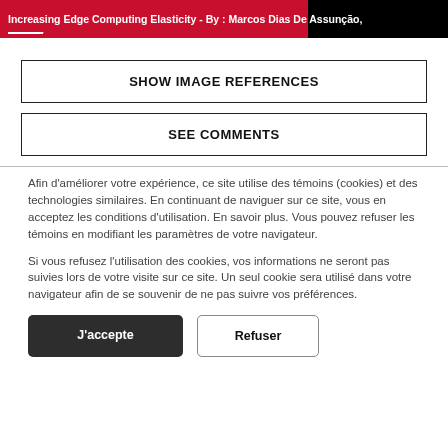Increasing Edge Computing Elasticity - By : Marcos Dias De Assunção,
SHOW IMAGE REFERENCES
SEE COMMENTS
Afin d'améliorer votre expérience, ce site utilise des témoins (cookies) et des technologies similaires. En continuant de naviguer sur ce site, vous en acceptez les conditions d'utilisation. En savoir plus. Vous pouvez refuser les témoins en modifiant les paramètres de votre navigateur.
Si vous refusez l'utilisation des cookies, vos informations ne seront pas suivies lors de votre visite sur ce site. Un seul cookie sera utilisé dans votre navigateur afin de se souvenir de ne pas suivre vos préférences.
J'accepte
Refuser